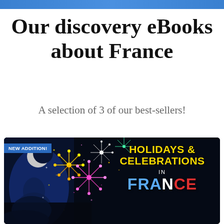Our discovery eBooks about France
A selection of 3 of our best-sellers!
[Figure (illustration): Book cover for 'Holidays & Celebrations in France' showing colorful fireworks against a night sky with a 'NEW ADDITION!' badge in the top left corner. The title text shows HOLIDAYS & CELEBRATIONS in yellow, IN in white, and FRANCE with FRA in blue, N in white, CE in red.]